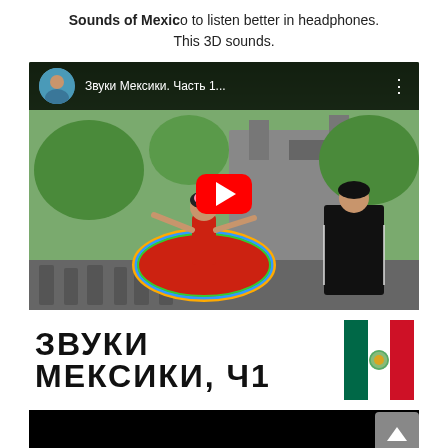Sounds of Mexico to listen better in headphones. This 3D sounds.
[Figure (screenshot): YouTube video thumbnail showing a Mexican folklorico dancer in a red and multicolor dress, with a man in black mariachi suit, a European-style cathedral in the background, and a large red YouTube play button overlay. The video header shows the title 'Звуки Мексики. Часть 1...' with an avatar thumbnail and a three-dot menu. The bottom of the thumbnail shows text 'ЗВУКИ МЕКСИКИ, Ч1' in bold letters alongside the Mexican flag. Below the main thumbnail area is a black strip showing another still frame.]